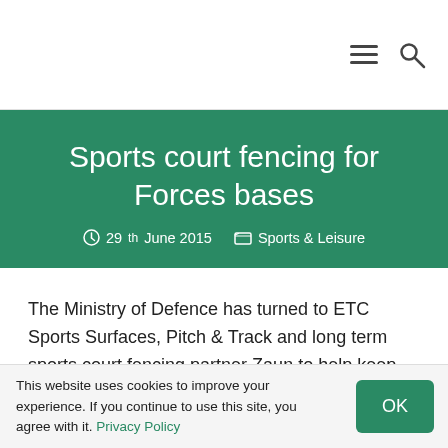☰ 🔍
Sports court fencing for Forces bases
29th June 2015  Sports & Leisure
The Ministry of Defence has turned to ETC Sports Surfaces, Pitch & Track and long term sports court fencing partner Zaun to help keep the Armed Forces in shape.
This website uses cookies to improve your experience. If you continue to use this site, you agree with it. Privacy Policy  OK